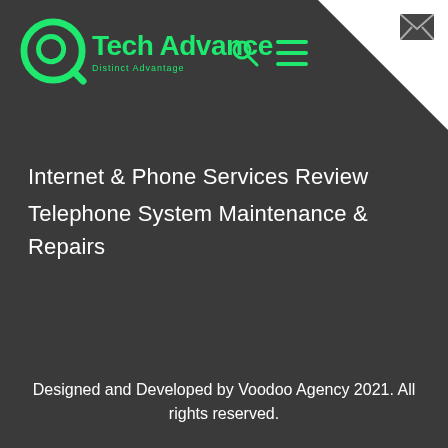[Figure (logo): Tech Advance logo — green circular icon with a Q-like shape and the text 'Tech Advance' in green, subtitle 'Distinct Advantage' in green]
Internet & Phone Services Review
Telephone System Maintenance & Repairs
Designed and Developed by Voodoo Agency 2021. All rights reserved.